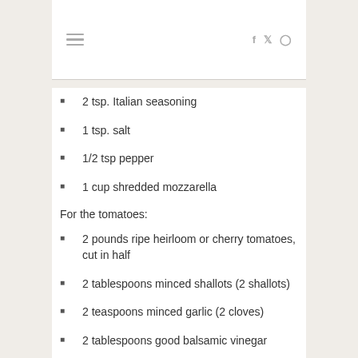Navigation bar with hamburger menu and social icons (Facebook, Twitter, Instagram)
2 tsp. Italian seasoning
1 tsp. salt
1/2 tsp pepper
1 cup shredded mozzarella
For the tomatoes:
2 pounds ripe heirloom or cherry tomatoes, cut in half
2 tablespoons minced shallots (2 shallots)
2 teaspoons minced garlic (2 cloves)
2 tablespoons good balsamic vinegar
2 tablespoons olive oil
1/4 cup julienned fresh basil leaves,